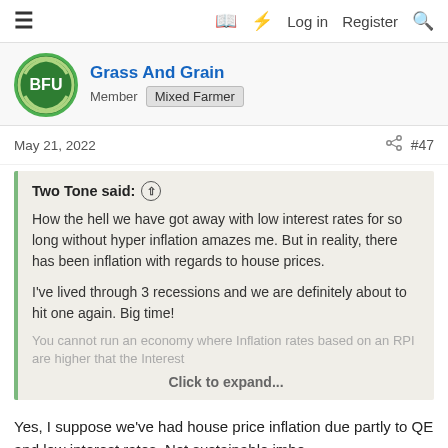≡  🔖 ⚡ Log in  Register 🔍
Grass And Grain
Member Mixed Farmer
May 21, 2022  #47
Two Tone said: ↑

How the hell we have got away with low interest rates for so long without hyper inflation amazes me. But in reality, there has been inflation with regards to house prices.

I've lived through 3 recessions and we are definitely about to hit one again. Big time!
You cannot run an economy where Inflation rates based on an RPI are higher that the Interest...
Click to expand...
Yes, I suppose we've had house price inflation due partly to QE and low interest rates. Not sustainable imho.

OK of you're a 40+ house owner, but no good if wanting to get